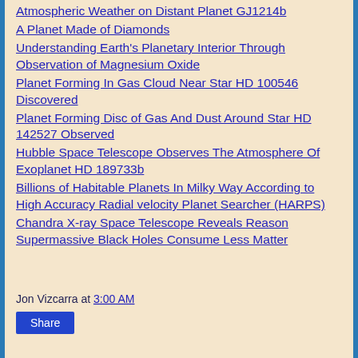Atmospheric Weather on Distant Planet GJ1214b
A Planet Made of Diamonds
Understanding Earth's Planetary Interior Through Observation of Magnesium Oxide
Planet Forming In Gas Cloud Near Star HD 100546 Discovered
Planet Forming Disc of Gas And Dust Around Star HD 142527 Observed
Hubble Space Telescope Observes The Atmosphere Of Exoplanet HD 189733b
Billions of Habitable Planets In Milky Way According to High Accuracy Radial velocity Planet Searcher (HARPS)
Chandra X-ray Space Telescope Reveals Reason Supermassive Black Holes Consume Less Matter
Jon Vizcarra at 3:00 AM
Share